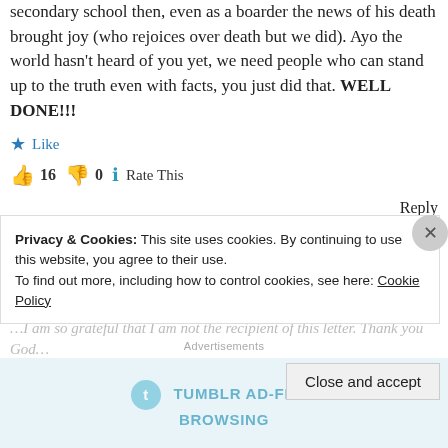secondary school then, even as a boarder the news of his death brought joy (who rejoices over death but we did). Ayo the world hasn't heard of you yet, we need people who can stand up to the truth even with facts, you just did that. WELL DONE!!!
★ Like
👍 16 👎 0 ℹ Rate This
Reply
LYNDA says:
March 5, 2014 at 4:31 pm
...I am so grateful that I am not the recipient of this letter. Thank you God...
Privacy & Cookies: This site uses cookies. By continuing to use this website, you agree to their use. To find out more, including how to control cookies, see here: Cookie Policy
Close and accept
Advertisements
[Figure (illustration): Tumblr Ad-Free Browsing advertisement banner]